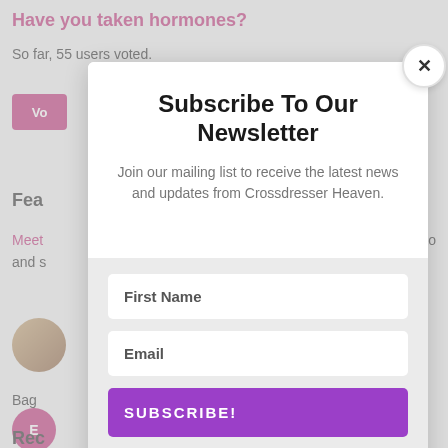Have you taken hormones?
So far, 55 users voted.
Feat
Meet
and s
Bag
Rec
[Figure (screenshot): Newsletter subscription modal overlay on a website page. The modal has a white top section with bold title 'Subscribe To Our Newsletter', subtitle text 'Join our mailing list to receive the latest news and updates from Crossdresser Heaven.', a downward-pointing triangle notch, a gray bottom section with First Name input, Email input, a purple SUBSCRIBE! button, and spam disclaimer text. A close (×) button is in the top-right corner of the modal.]